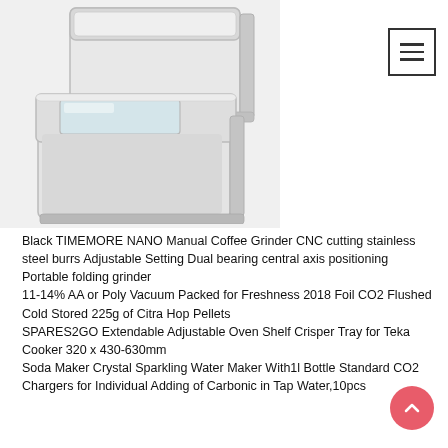[Figure (photo): Two white/silver rectangular tin boxes with lids, one open showing a clear window lid, photographed on white background]
Black TIMEMORE NANO Manual Coffee Grinder CNC cutting stainless steel burrs Adjustable Setting Dual bearing central axis positioning Portable folding grinder
11-14% AA or Poly Vacuum Packed for Freshness 2018 Foil CO2 Flushed Cold Stored 225g of Citra Hop Pellets
SPARES2GO Extendable Adjustable Oven Shelf Crisper Tray for Teka Cooker 320 x 430-630mm
Soda Maker Crystal Sparkling Water Maker With1l Bottle Standard CO2 Chargers for Individual Adding of Carbonic in Tap Water,10pcs